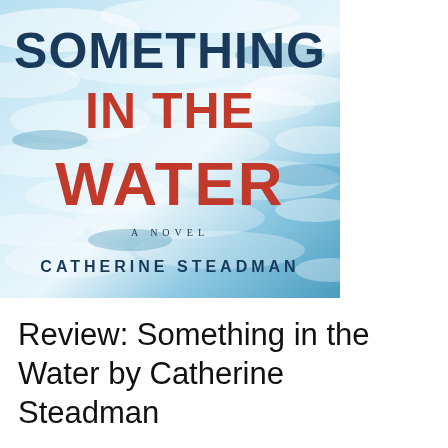[Figure (illustration): Book cover of 'Something in the Water' by Catherine Steadman. Features an aerial ocean/water background with blue and white waves. Title text reads 'SOMETHING IN THE WATER' with 'SOMETHING' and 'IN THE' in dark navy blue, 'WATER' in bold red. Below the title is 'A NOVEL' in small spaced caps, then 'CATHERINE STEADMAN' in navy bold uppercase letters.]
Review: Something in the Water by Catherine Steadman